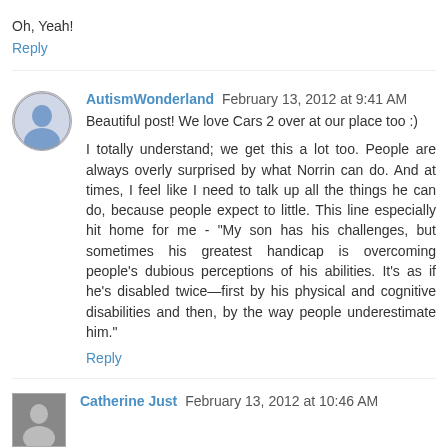Oh, Yeah!
Reply
AutismWonderland  February 13, 2012 at 9:41 AM
Beautiful post! We love Cars 2 over at our place too :)
I totally understand; we get this a lot too. People are always overly surprised by what Norrin can do. And at times, I feel like I need to talk up all the things he can do, because people expect to little. This line especially hit home for me - "My son has his challenges, but sometimes his greatest handicap is overcoming people's dubious perceptions of his abilities. It's as if he's disabled twice—first by his physical and cognitive disabilities and then, by the way people underestimate him."
Reply
Catherine Just  February 13, 2012 at 10:46 AM